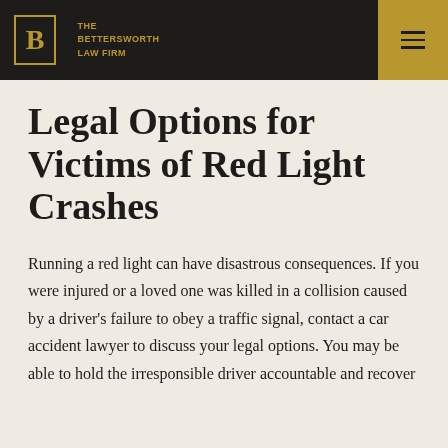THE BETTERSWORTH LAW FIRM
Legal Options for Victims of Red Light Crashes
Running a red light can have disastrous consequences. If you were injured or a loved one was killed in a collision caused by a driver's failure to obey a traffic signal, contact a car accident lawyer to discuss your legal options. You may be able to hold the irresponsible driver accountable and recover